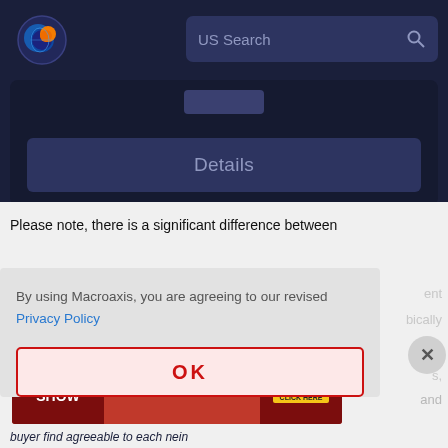[Figure (screenshot): Macroaxis website header with logo and US Search bar on dark navy background]
[Figure (screenshot): Details button card area on dark background]
Please note, there is a significant difference between
By using Macroaxis, you are agreeing to our revised Privacy Policy
[Figure (screenshot): OK button with red border on pink background]
[Figure (screenshot): Capital Home Show advertisement banner - SEPT. 23-25 DULLES EXPO CENTER SAV $3 NOW CLICK HERE]
buyer find agreeable to each nein